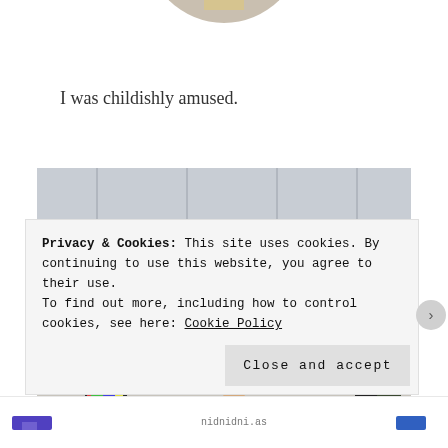[Figure (photo): Cropped top of a circular profile photo showing a yellow object on a light background, partially visible at the top of the page]
I was childishly amused.
[Figure (photo): Photo of a train station platform. Two adults and a small child are seen from behind walking along the platform. A blue and yellow train is parked on the right side. The station has a modern canopy roof.]
Privacy & Cookies: This site uses cookies. By continuing to use this website, you agree to their use.
To find out more, including how to control cookies, see here: Cookie Policy
Close and accept